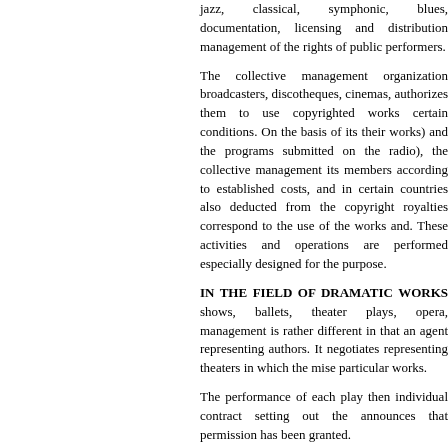jazz, classical, symphonic, blues, documentation, licensing and distribu... management of the rights of public pe...
The collective management organiza... broadcasters, discotheques, cinemas, authorizes them to use copyrighted w... certain conditions. On the basis of i... their works) and the programs submi... on the radio), the collective manageme... its members according to establishe... costs, and in certain countries also deducted from the copyright royalties... correspond to the use of the works a... These activities and operations are p... especially designed for the purpose.
IN THE FIELD OF DRAMATIC WO...
shows, ballets, theater plays, ope... management is rather different in tha... an agent representing authors. It neg... representing theaters in which the mi... particular works.
The performance of each play then... individual contract setting out the ... announces that permission has been ...
IN THE FIELD OF PRINTED WORKS...
the lyrics of songs), collective mana... other words allowing protected mate... universities, schools and consume... international conventions, can be writ... is accorded that does not require...